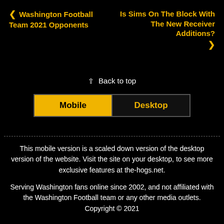❮ Washington Football Team 2021 Opponents
Is Sims On The Block With The New Receiver Additions? ❯
⇪ Back to top
Mobile | Desktop
This mobile version is a scaled down version of the desktop version of the website. Visit the site on your desktop, to see more exclusive features at the-hogs.net.
Serving Washington fans online since 2002, and not affiliated with the Washington Football team or any other media outlets.
Copyright © 2021